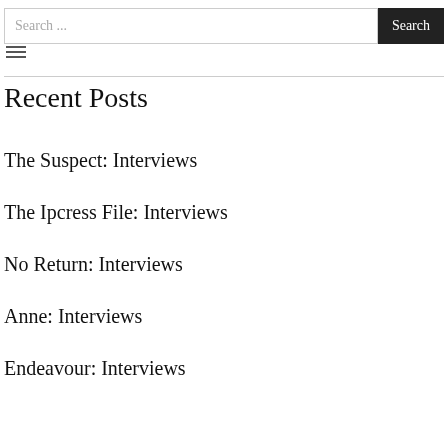Search ... Search
Recent Posts
The Suspect: Interviews
The Ipcress File: Interviews
No Return: Interviews
Anne: Interviews
Endeavour: Interviews